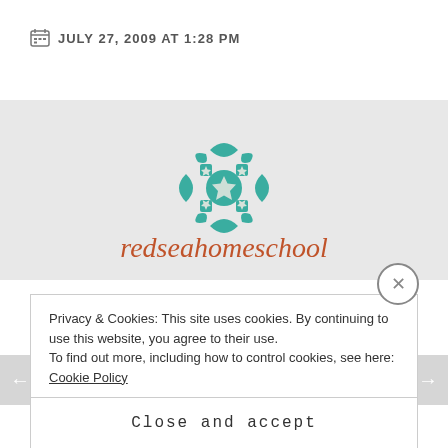JULY 27, 2009 AT 1:28 PM
[Figure (logo): Teal geometric flower/cross ornamental logo mark]
redseahomeschool
Great list — I can't wait to print it out and use it over the next couple of years!
Like
Privacy & Cookies: This site uses cookies. By continuing to use this website, you agree to their use.
To find out more, including how to control cookies, see here: Cookie Policy
Close and accept